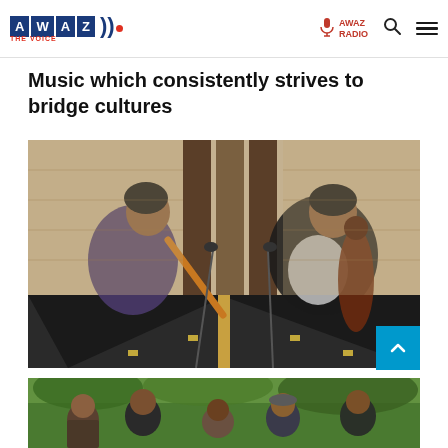AWAZ THE VOICE — AWAZ RADIO
Music which consistently strives to bridge cultures
[Figure (photo): Two musicians sitting cross-legged in a recording studio with acoustic panels on the wall. Left musician plays a bamboo flute (bansuri), right musician plays a sitar. They are smiling at each other.]
[Figure (photo): Group of people outdoors in a green, wooded area. Multiple individuals visible from behind and side, some seated or standing.]